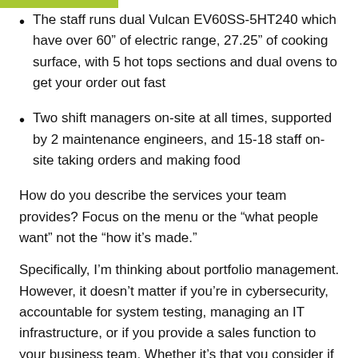The staff runs dual Vulcan EV60SS-5HT240 which have over 60” of electric range, 27.25” of cooking surface, with 5 hot tops sections and dual ovens to get your order out fast
Two shift managers on-site at all times, supported by 2 maintenance engineers, and 15-18 staff on-site taking orders and making food
How do you describe the services your team provides? Focus on the menu or the “what people want” not the “how it’s made.”
Specifically, I’m thinking about portfolio management. However, it doesn’t matter if you’re in cybersecurity, accountable for system testing, managing an IT infrastructure, or if you provide a sales function to your business team. Whether it’s that you consider if